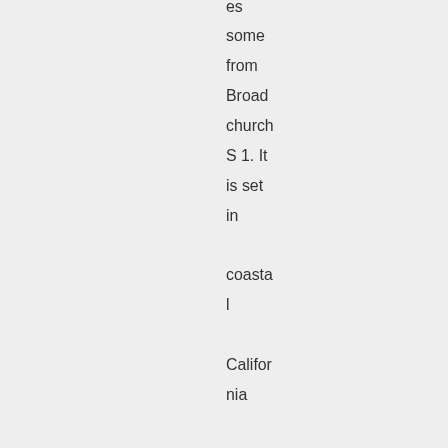es some from Broadchurch S 1. It is set in coastal California which if it is anything like th